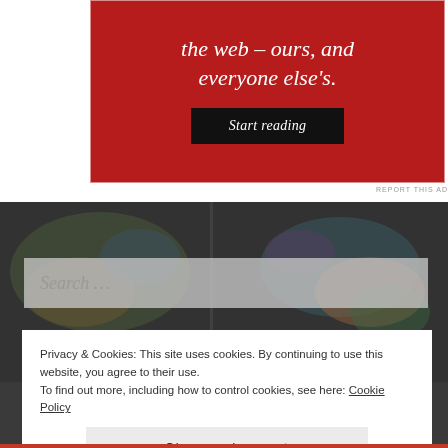[Figure (screenshot): Red advertisement banner with white serif italic text reading 'the web – ours, and everyone else's.' and a dark 'Start reading' button]
REPORT THIS AD
[Figure (photo): Dark background with colorful world map photo visible behind interface elements]
Search …
Privacy & Cookies: This site uses cookies. By continuing to use this website, you agree to their use.
To find out more, including how to control cookies, see here: Cookie Policy
Close and accept